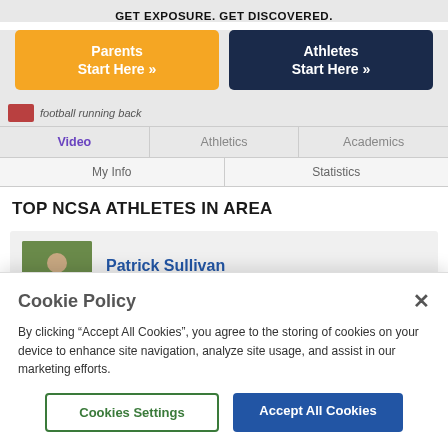GET EXPOSURE. GET DISCOVERED.
[Figure (screenshot): Two call-to-action buttons: orange 'Parents Start Here »' and dark navy 'Athletes Start Here »']
[Figure (screenshot): Partially visible navigation row with thumbnail and truncated text (football, running back)]
Video | Athletics | Academics
My Info | Statistics
TOP NCSA ATHLETES IN AREA
[Figure (photo): Athlete profile card for Patrick Sullivan, Men's Lacrosse - Midfielder, with action photo thumbnail]
Cookie Policy
By clicking “Accept All Cookies”, you agree to the storing of cookies on your device to enhance site navigation, analyze site usage, and assist in our marketing efforts.
Cookies Settings
Accept All Cookies